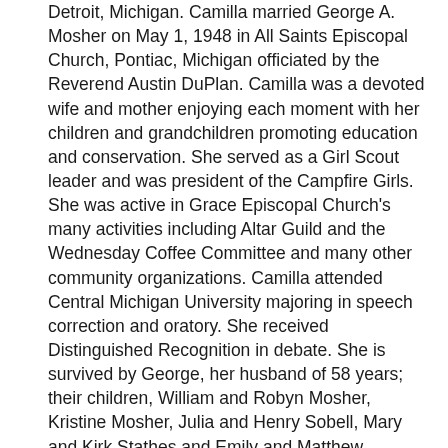Detroit, Michigan. Camilla married George A. Mosher on May 1, 1948 in All Saints Episcopal Church, Pontiac, Michigan officiated by the Reverend Austin DuPlan. Camilla was a devoted wife and mother enjoying each moment with her children and grandchildren promoting education and conservation. She served as a Girl Scout leader and was president of the Campfire Girls. She was active in Grace Episcopal Church's many activities including Altar Guild and the Wednesday Coffee Committee and many other community organizations. Camilla attended Central Michigan University majoring in speech correction and oratory. She received Distinguished Recognition in debate. She is survived by George, her husband of 58 years; their children, William and Robyn Mosher, Kristine Mosher, Julia and Henry Sobell, Mary and Kirk Stathes and Emily and Matthew Wallace; her grandchildren, Bryan and Arwen Mosher, Benjamin and Michelle Weston, Jacob Sobell, Steven Sobell, George Sobell, Florence Ann Sobell, Corbu Stathes, Annie Stathes, Katherine Stathes, Luke Wallace and Elizabeth Wallace; great grandchildren, Andrew Weston and Logan Weston; sister-in-law, Marjorie Carlsen; sister, Christina and Kent Crawford and many nieces and nephews. She was preceded in death by her brother, Alfred Carlsen, Jr. Visitation will be 2 to 4 and 6 to 8 p.m. Sunday in Karrer-Simpson Funeral Home. A Memorial Service will be held